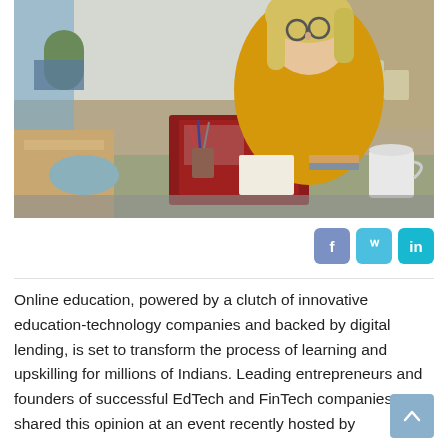[Figure (photo): Young blonde woman wearing glasses and a yellow/mustard sweater sitting at a desk working on a red laptop, surrounded by books, plants, pens and a coffee mug in a home office setting.]
Online education, powered by a clutch of innovative education-technology companies and backed by digital lending, is set to transform the process of learning and upskilling for millions of Indians. Leading entrepreneurs and founders of successful EdTech and FinTech companies shared this opinion at an event recently hosted by